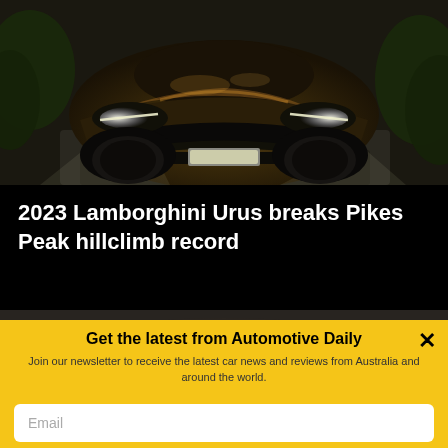[Figure (photo): Front view of a 2023 Lamborghini Urus in dark/bronze color driving on a road, with headlights on and greenery in background]
2023 Lamborghini Urus breaks Pikes Peak hillclimb record
[Figure (photo): Partial view of a second car/article image, mostly dark/obscured by newsletter overlay]
Get the latest from Automotive Daily
Join our newsletter to receive the latest car news and reviews from Australia and around the world.
Email